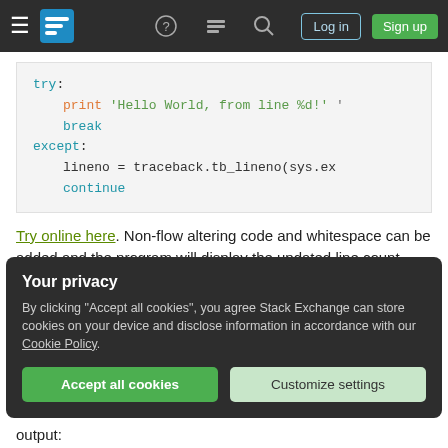Stack Overflow navigation bar with hamburger, logo, help, chat, search, log in, sign up
[Figure (screenshot): Code snippet showing Python try/except block with print, break, except, lineno, continue keywords in syntax highlighting]
Try online here. Non-flow altering code and whitespace can be added and the program will display the updated line count, and likewise, this code snippet can also be used anywhere in an existing program. Expected output:
Your privacy
By clicking "Accept all cookies", you agree Stack Exchange can store cookies on your device and disclose information in accordance with our Cookie Policy.
output: